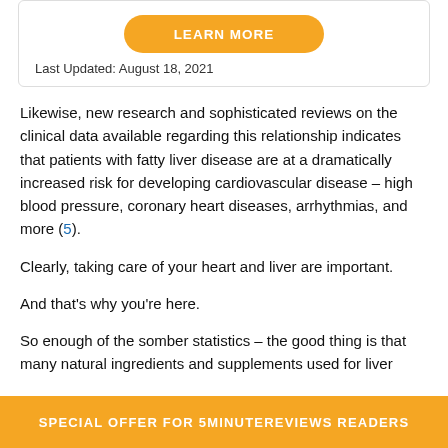[Figure (other): Orange rounded 'LEARN MORE' button inside a bordered box]
Last Updated: August 18, 2021
Likewise, new research and sophisticated reviews on the clinical data available regarding this relationship indicates that patients with fatty liver disease are at a dramatically increased risk for developing cardiovascular disease – high blood pressure, coronary heart diseases, arrhythmias, and more (5).
Clearly, taking care of your heart and liver are important.
And that's why you're here.
So enough of the somber statistics – the good thing is that many natural ingredients and supplements used for liver
SPECIAL OFFER FOR 5MINUTEREVIEWS READERS